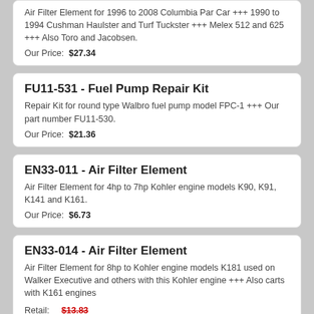Air Filter Element for 1996 to 2008 Columbia Par Car +++ 1990 to 1994 Cushman Haulster and Turf Tuckster +++ Melex 512 and 625 +++ Also Toro and Jacobsen.
Our Price: $27.34
FU11-531 - Fuel Pump Repair Kit
Repair Kit for round type Walbro fuel pump model FPC-1 +++ Our part number FU11-530.
Our Price: $21.36
EN33-011 - Air Filter Element
Air Filter Element for 4hp to 7hp Kohler engine models K90, K91, K141 and K161.
Our Price: $6.73
EN33-014 - Air Filter Element
Air Filter Element for 8hp to Kohler engine models K181 used on Walker Executive and others with this Kohler engine +++ Also carts with K161 engines
Retail: $13.83
On Sale: $9.78
You Save: 30%